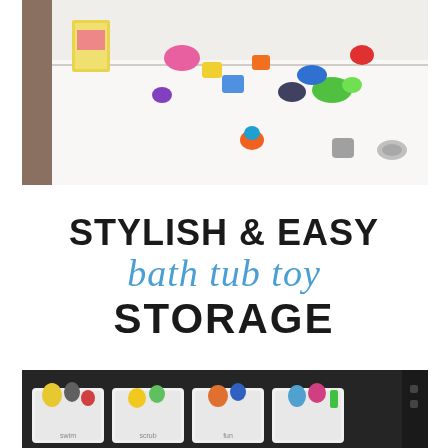[Figure (photo): Photo of a white bathtub with colorful children's bath toys scattered along the rim and inside — foam letters, animal figures, colorful cups and small toys. A small book is propped at the left end.]
STYLISH & EASY bath tub toy STORAGE
[Figure (photo): Photo showing a row of white labeled bins or baskets filled with bath toys, set against a dark chalkboard background. The bins contain stuffed animals, rubber ducks, and various bath toys.]